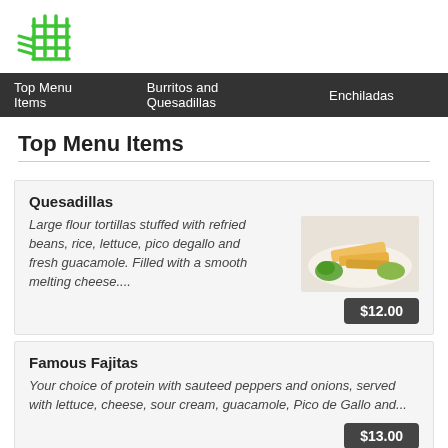[Figure (logo): Green grid/hashtag style logo icon]
Top Menu Items | Burritos and Quesadillas | Enchiladas
Top Menu Items
Quesadillas
Large flour tortillas stuffed with refried beans, rice, lettuce, pico degallo and fresh guacamole. Filled with a smooth melting cheese....
[Figure (photo): Photo of quesadillas on a white plate with guacamole and garnish]
$12.00
Famous Fajitas
Your choice of protein with sauteed peppers and onions, served with lettuce, cheese, sour cream, guacamole, Pico de Gallo and...
$13.00
Side of Guacamole
Side Guacamole